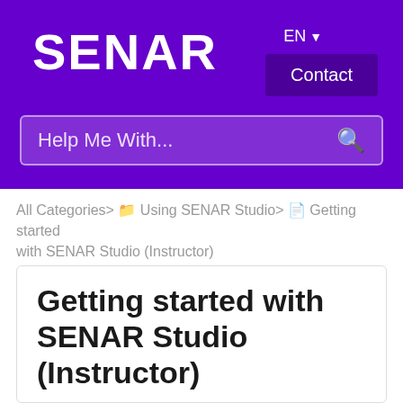SENAR
EN
Contact
Help Me With...
All Categories > Using SENAR Studio > Getting started with SENAR Studio (Instructor)
Getting started with SENAR Studio (Instructor)